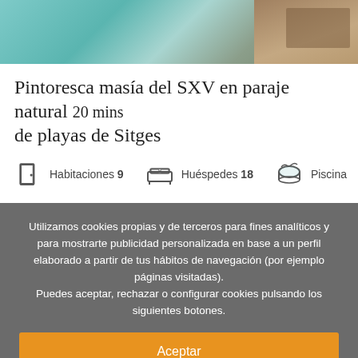[Figure (photo): Aerial/overhead photo of a pool area with teal water and wooden deck furniture]
Pintoresca masía del SXV en paraje natural 20 mins de playas de Sitges
Habitaciones 9   Huéspedes 18   Piscina
Utilizamos cookies propias y de terceros para fines analíticos y para mostrarte publicidad personalizada en base a un perfil elaborado a partir de tus hábitos de navegación (por ejemplo páginas visitadas). Puedes aceptar, rechazar o configurar cookies pulsando los siguientes botones.
Aceptar
Rechazar
Configurar
Mas informacion